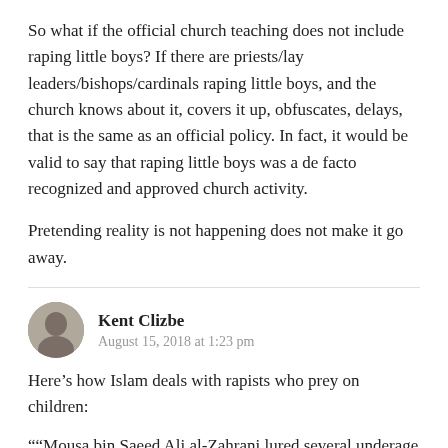So what if the official church teaching does not include raping little boys? If there are priests/lay leaders/bishops/cardinals raping little boys, and the church knows about it, covers it up, obfuscates, delays, that is the same as an official policy. In fact, it would be valid to say that raping little boys was a de facto recognized and approved church activity.
Pretending reality is not happening does not make it go away.
Kent Clizbe
August 15, 2018 at 1:23 pm
Here’s how Islam deals with rapists who prey on children:
““Mousa bin Saeed Ali al-Zahrani lured several underage girls and kidnapped them. He also threatened them and their relatives and physically assaulted them in his home,” said the report.